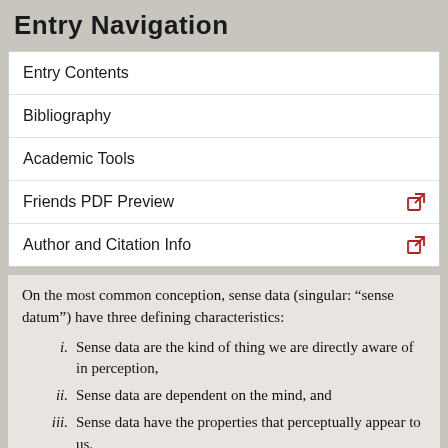Entry Navigation
Entry Contents
Bibliography
Academic Tools
Friends PDF Preview
Author and Citation Info
On the most common conception, sense data (singular: “sense datum”) have three defining characteristics:
i. Sense data are the kind of thing we are directly aware of in perception,
ii. Sense data are dependent on the mind, and
iii. Sense data have the properties that perceptually appear to us.
Each of those conditions calls for clarification.